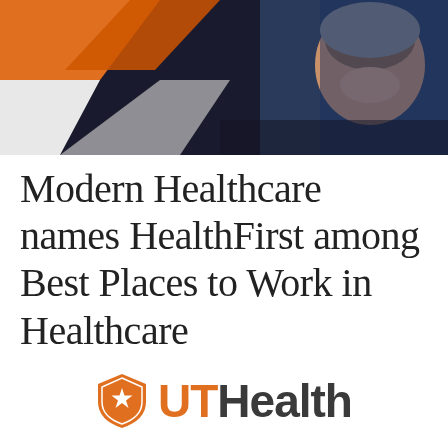[Figure (photo): Header image showing a person smiling in a healthcare/laboratory setting with orange geometric shapes overlaid on the left side and a dark blue background on the right.]
Modern Healthcare names HealthFirst among Best Places to Work in Healthcare
[Figure (logo): UTHealth logo: an orange shield with a white star, followed by 'UT' in orange bold text and 'Health' in dark gray bold text.]